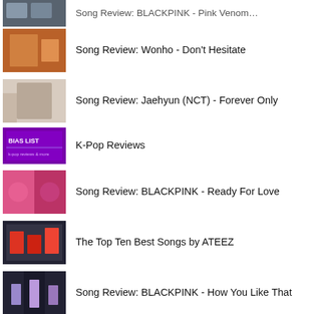Song Review: Wonho - Don't Hesitate
Song Review: Jaehyun (NCT) - Forever Only
K-Pop Reviews
Song Review: BLACKPINK - Ready For Love
The Top Ten Best Songs by ATEEZ
Song Review: BLACKPINK - How You Like That
Song Review: BLACKPINK - Lovesick Girls
Song Review: The Boyz - Whisper
Song Review: Kis-My-Ft2 - Smokin' Hot